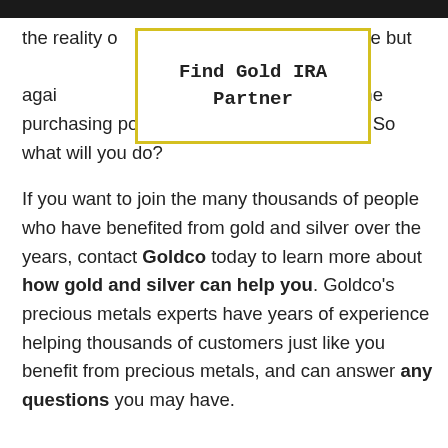[Figure (other): Yellow-bordered popup box with text 'Find Gold IRA Partner']
the reality o ve no choice but t ct your assets agai oney each year as the purchasing power of your dollars declines. So what will you do?

If you want to join the many thousands of people who have benefited from gold and silver over the years, contact Goldco today to learn more about how gold and silver can help you. Goldco's precious metals experts have years of experience helping thousands of customers just like you benefit from precious metals, and can answer any questions you may have.